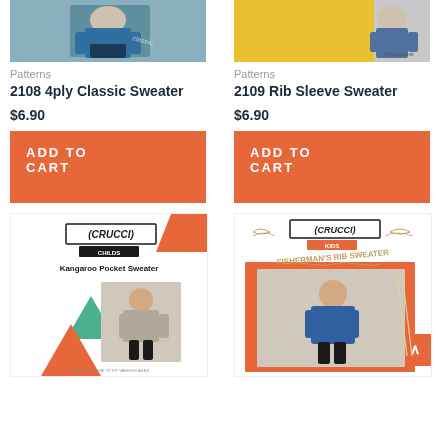[Figure (photo): Product image for 2108 4ply Classic Sweater showing a woman in a blue sweater]
[Figure (photo): Product image for 2109 Rib Sleeve Sweater showing a child with yellow/orange background]
Patterns
2108 4ply Classic Sweater
$6.90
ADD TO CART
Patterns
2109 Rib Sleeve Sweater
$6.90
ADD TO CART
[Figure (photo): Crucci Childs Kangaroo Pocket Sweater pattern cover with child in colorblock sweater and geometric triangle shapes]
[Figure (photo): Crucci Kids Fisherman's Rib Sweater pattern cover with child in blue sweater on orange background]